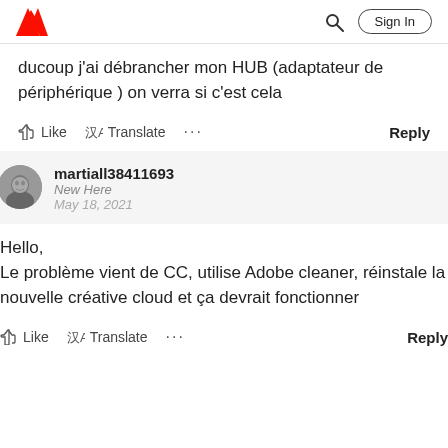Adobe | Sign In
ducoup j'ai débrancher mon HUB (adaptateur de périphérique ) on verra si c'est cela
Like  Translate  ...  Reply
martiall38411693
New Here
May 18, 2021
Hello,
Le problème vient de CC, utilise Adobe cleaner, réinstale la nouvelle créative cloud et ça devrait fonctionner
Like  Translate  ...  Reply